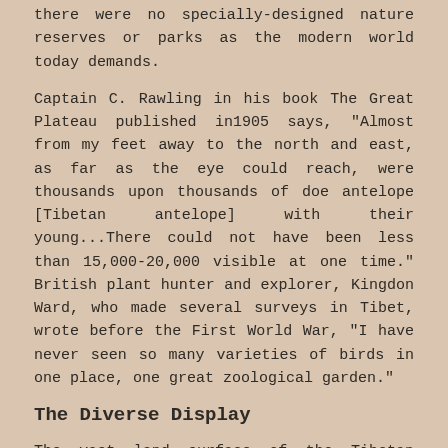there were no specially-designed nature reserves or parks as the modern world today demands.
Captain C. Rawling in his book The Great Plateau published in1905 says, "Almost from my feet away to the north and east, as far as the eye could reach, were thousands upon thousands of doe antelope [Tibetan antelope] with their young...There could not have been less than 15,000-20,000 visible at one time." British plant hunter and explorer, Kingdon Ward, who made several surveys in Tibet, wrote before the First World War, "I have never seen so many varieties of birds in one place, one great zoological garden."
The Diverse Display
The vast land surface of the Tibetan Plateau has wide climatic variations caused by the unique plateau